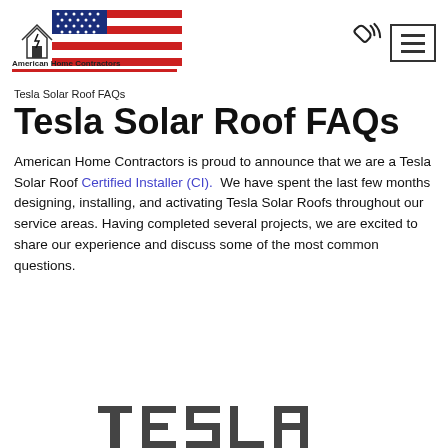[Figure (logo): American Home Contractors logo with American flag and house icon]
[Figure (other): Phone/call icon (ringing telephone)]
[Figure (other): Hamburger menu button (three horizontal lines in a bordered box)]
Tesla Solar Roof FAQs
Tesla Solar Roof FAQs
American Home Contractors is proud to announce that we are a Tesla Solar Roof Certified Installer (CI).  We have spent the last few months designing, installing, and activating Tesla Solar Roofs throughout our service areas. Having completed several projects, we are excited to share our experience and discuss some of the most common questions.
[Figure (logo): Tesla logo (partial, visible at bottom of page)]